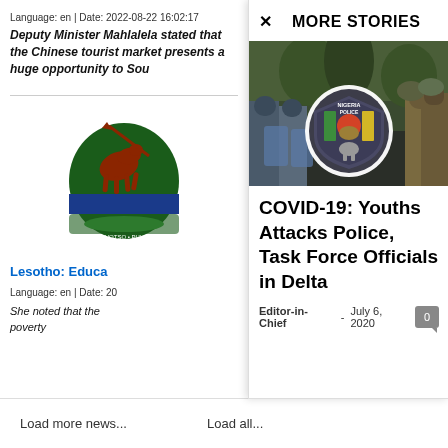Language: en | Date: 2022-08-22 16:02:17
Deputy Minister Mahlalela stated that the Chinese tourist market presents a huge opportunity to Sou
[Figure (illustration): Coat of arms / seal for Lesotho]
Lesotho: Educa
Language: en | Date: 20
She noted that the poverty
MORE STORIES
[Figure (photo): Nigeria Police officers in riot gear with Nigeria Police Force badge/shield visible in center]
COVID-19: Youths Attacks Police, Task Force Officials in Delta
Editor-in-Chief  -  July 6, 2020
Load more news...
Load all...